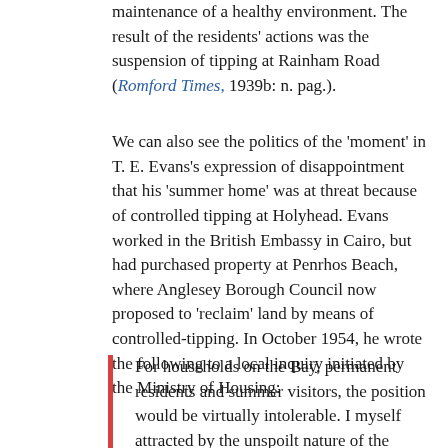maintenance of a healthy environment. The result of the residents' actions was the suspension of tipping at Rainham Road (Romford Times, 1939b: n. pag.).
We can also see the politics of the 'moment' in T. E. Evans's expression of disappointment that his 'summer home' was at threat because of controlled tipping at Holyhead. Evans worked in the British Embassy in Cairo, but had purchased property at Penrhos Beach, where Anglesey Borough Council now proposed to 'reclaim' land by means of controlled-tipping. In October 1954, he wrote the following to a local inquiry initiated by the Ministry of Housing:
For households on the Bay, permanent residents and summer visitors, the position would be virtually intolerable. I myself attracted by the unspoilt nature of the district, in 1951, acquired, and modernized at considerable expense, the property known as "Pentowyn", Penrhos Beach, for use as a holiday home during leave of absence from service abroad.